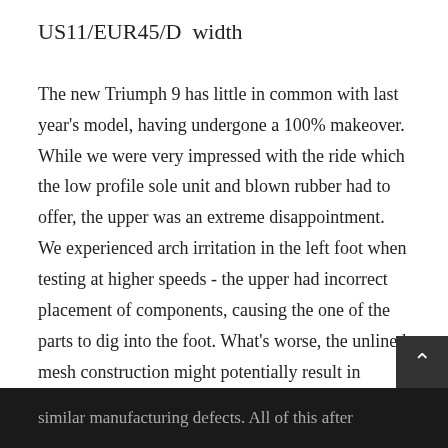US11/EUR45/D  width
The new Triumph 9 has little in common with last year's model, having undergone a 100% makeover. While we were very impressed with the ride which the low profile sole unit and blown rubber had to offer, the upper was an extreme disappointment. We experienced arch irritation in the left foot when testing at higher speeds - the upper had incorrect placement of components, causing the one of the parts to dig into the foot. What's worse, the unlined mesh construction might potentially result in similar manufacturing defects. All of this after